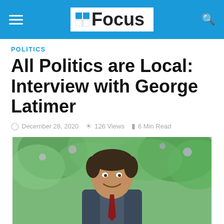Focus
POLITICS
All Politics are Local: Interview with George Latimer
December 28, 2020  126 Views  6 Min Read
[Figure (photo): Portrait photo of George Latimer, a middle-aged man with dark hair, smiling, outdoors with green foliage background]